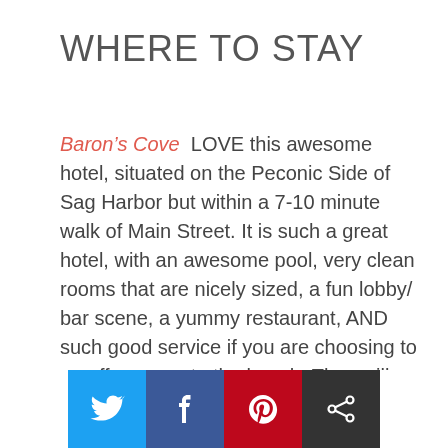WHERE TO STAY
Baron’s Cove  LOVE this awesome hotel, situated on the Peconic Side of Sag Harbor but within a 7-10 minute walk of Main Street. It is such a great hotel, with an awesome pool, very clean rooms that are nicely sized, a fun lobby/ bar scene, a yummy restaurant, AND such good service if you are choosing to go off campus to the beach. They will give you the parking permits for a few different Sag Harbor beaches and the hotel will set you up with
[Figure (infographic): Social share buttons: Twitter (blue), Facebook (dark blue), Pinterest (red), Share (black)]